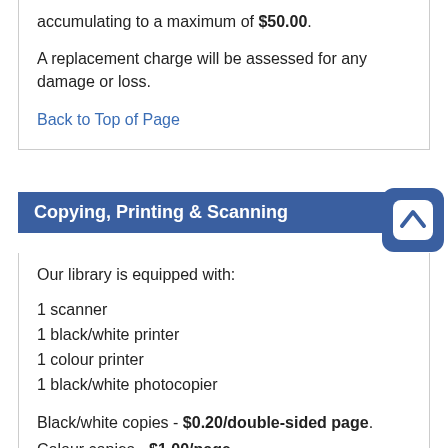accumulating to a maximum of $50.00.
A replacement charge will be assessed for any damage or loss.
Back to Top of Page
Copying, Printing & Scanning
Our library is equipped with:
1 scanner
1 black/white printer
1 colour printer
1 black/white photocopier
Black/white copies - $0.20/double-sided page.
Colour copies - $1.00/page.